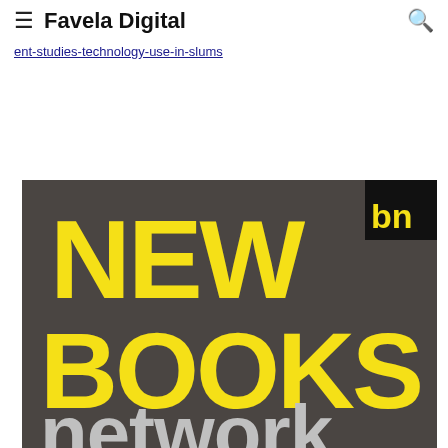≡ Favela Digital 🔍
ent-studies-technology-use-in-slums
[Figure (logo): New Books Network logo on dark brown/grey background. Large yellow bold text reads 'NEW' on first line, 'BOOKS' on second line, and white/grey text 'network' beginning on third line. Black corner badge with yellow letters 'bn' in top right corner.]